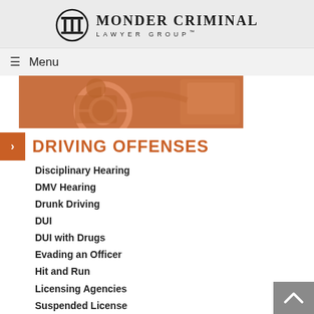[Figure (logo): Monder Criminal Lawyer Group logo with circular column icon and text]
≡  Menu
[Figure (photo): Orange-tinted photo of a person driving a car, steering wheel visible]
DRIVING OFFENSES
Disciplinary Hearing
DMV Hearing
Drunk Driving
DUI
DUI with Drugs
Evading an Officer
Hit and Run
Licensing Agencies
Suspended License
Vehicular Manslaughter